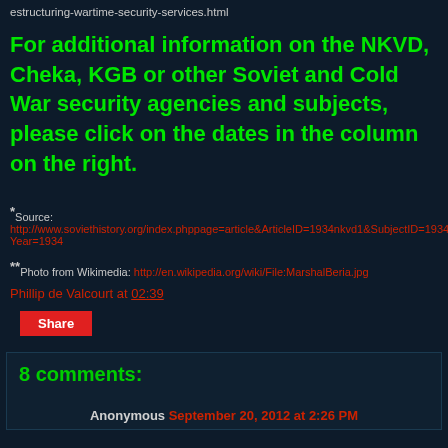estructuring-wartime-security-services.html
For additional information on the NKVD, Cheka, KGB or other Soviet and Cold War security agencies and subjects, please click on the dates in the column on the right.
*Source: http://www.soviethistory.org/index.phppage=article&ArticleID=1934nkvd1&SubjectID=1934kirov&Year=1934
**Photo from Wikimedia: http://en.wikipedia.org/wiki/File:MarshalBeria.jpg
Phillip de Valcourt at 02:39
Share
8 comments:
Anonymous September 20, 2012 at 2:26 PM